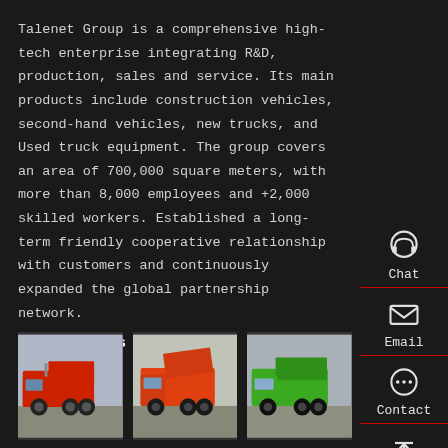Talenet Group is a comprehensive high-tech enterprise integrating R&D, production, sales and service. Its main products include construction vehicles, second-hand vehicles, new trucks, and Used truck equipment. The group covers an area of 700,000 square meters, with more than 8,000 employees and +2,000 skilled workers. Established a long-term friendly cooperative relationship with customers and continuously expanded the global partnership network.
Our Products
[Figure (photo): Red dump truck parked outdoors]
[Figure (photo): Orange/red dump truck parked outdoors]
[Figure (photo): Green dump truck parked outdoors]